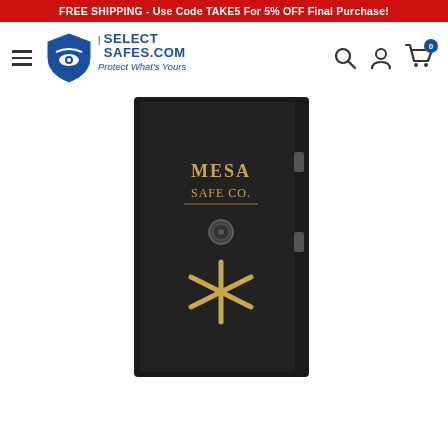FREE SHIPPING - Use Code TAKE5 For 5% OFF Final Purchase!
[Figure (logo): SelectSafes.com logo with shield icon and tagline 'Protect What's Yours']
[Figure (photo): Mesa Safe Co. large dark gun safe with gold lettering and combination lock dial, shown front-facing on white background]